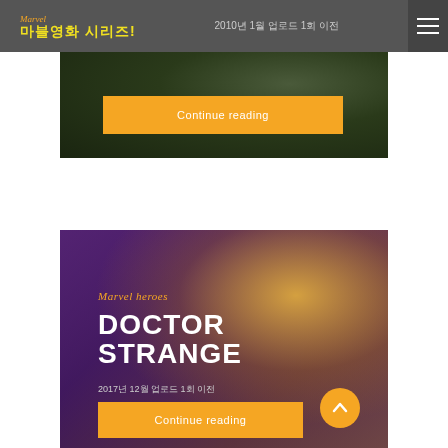마블영화 시리즈! 2010년 1월 업로드 1회 이전
[Figure (photo): Dark green Hulk-themed background image]
Continue reading
[Figure (photo): Doctor Strange purple and golden movie poster background with circular mandala light and silhouette of Doctor Strange]
Marvel heroes
DOCTOR STRANGE
2017년 12월 업로드 1회 이전
Continue reading